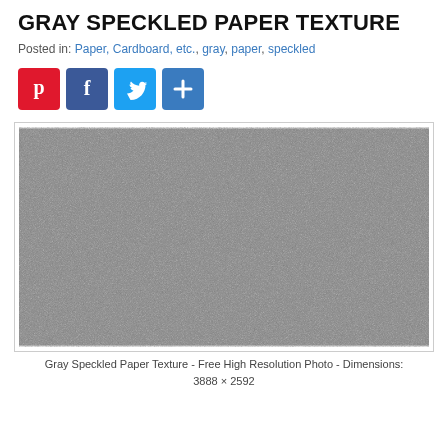GRAY SPECKLED PAPER TEXTURE
Posted in: Paper, Cardboard, etc., gray, paper, speckled
[Figure (other): Social media share buttons: Pinterest (red), Facebook (blue), Twitter (light blue), More/Plus (blue)]
[Figure (photo): Gray speckled paper texture photo - a uniform gray surface with fine random speckles/grain throughout]
Gray Speckled Paper Texture - Free High Resolution Photo - Dimensions: 3888 × 2592